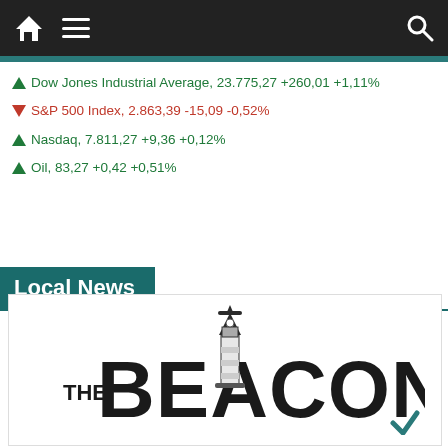Navigation bar with home, menu, and search icons
▲ Dow Jones Industrial Average, 23.775,27 +260,01 +1,11%
▼ S&P 500 Index, 2.863,39 -15,09 -0,52%
▲ Nasdaq, 7.811,27 +9,36 +0,12%
▲ Oil, 83,27 +0,42 +0,51%
Local News
[Figure (logo): The Beacon newspaper logo — bold black text 'THE BEACON' with a lighthouse illustration replacing the letter A in BEACON]